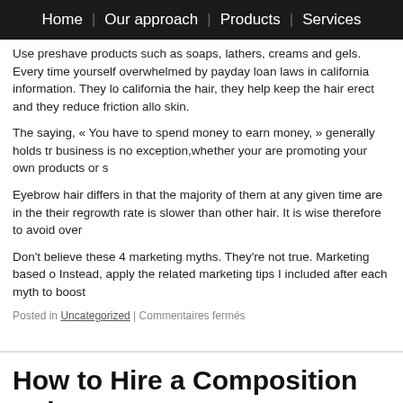Home | Our approach | Products | Services
Use preshave products such as soaps, lathers, creams and gels. Every time yourself overwhelmed by payday loan laws in california information. They lo california the hair, they help keep the hair erect and they reduce friction allo skin.
The saying, « You have to spend money to earn money, » generally holds tr business is no exception,whether your are promoting your own products or s
Eyebrow hair differs in that the majority of them at any given time are in the their regrowth rate is slower than other hair. It is wise therefore to avoid over
Don't believe these 4 marketing myths. They're not true. Marketing based o Instead, apply the related marketing tips I included after each myth to boost
Posted in Uncategorized | Commentaires fermés
How to Hire a Composition Helper
Posted on septembre 1, 2022 by fpetavy